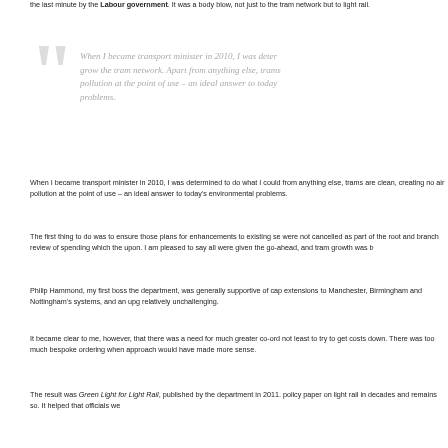the last minute by the Labour government. It was a body blow, not just to the tram network but to light rail.
When I became transport minister in 2010, I was determined to do what I could to grow the tram network. Apart from anything else, trams are clean, creating no air pollution at the point of use – an ideal answer to today's environmental problems.
When I became transport minister in 2010, I was determined to do what I could from anything else, trams are clean, creating no air pollution at the point of use environmental problems.
The first thing to do was to ensure those plans for enhancements to existing se were not cancelled as part of the root and branch review of spending which the upon. I am pleased to say all were given the go-ahead, and tram growth was b
Philip Hammond, my first boss the department, was generally supportive of cap extensions to Manchester, Birmingham and Nottingham's systems, and an upg relatively unchallenging.
It became clear to me, however, that there was a need for much greater co-ord not least to try to get costs down. There was too much bespoke ordering when approach would have made more sense.
The result was Green Light for Light Rail, published by the department in 2011. policy paper on light rail in decades and remains so. It helped that officials we